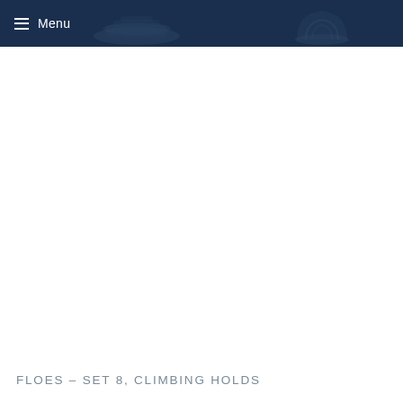Menu
[Figure (illustration): Dark navy navigation header bar with hamburger menu icon and text 'Menu' on the left, and two partially visible climbing hold icons (a flat jug and a round dome-shaped hold) in lighter blue-grey silhouette on the right side of the header]
FLOES – SET 8, CLIMBING HOLDS